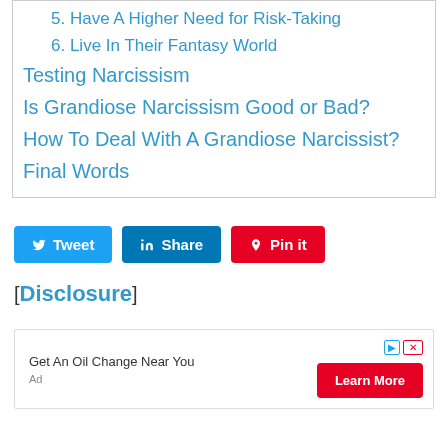5. Have A Higher Need for Risk-Taking
6. Live In Their Fantasy World
Testing Narcissism
Is Grandiose Narcissism Good or Bad?
How To Deal With A Grandiose Narcissist?
Final Words
[Figure (other): Social share buttons: Tweet (Twitter/blue), Share (LinkedIn/dark blue), Pin it (Pinterest/red)]
[Disclosure]
[Figure (other): Advertisement banner: Get An Oil Change Near You, with Learn More button and Ad label]